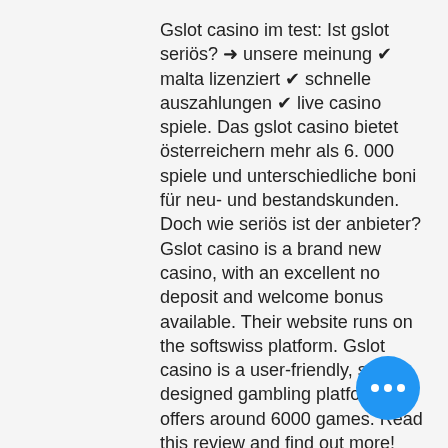Gslot casino im test: Ist gslot seriös? ➜ unsere meinung ✔ malta lizenziert ✔ schnelle auszahlungen ✔ live casino spiele. Das gslot casino bietet österreichern mehr als 6. 000 spiele und unterschiedliche boni für neu- und bestandskunden. Doch wie seriös ist der anbieter? Gslot casino is a brand new casino, with an excellent no deposit and welcome bonus available. Their website runs on the softswiss platform. Gslot casino is a user-friendly, simply-designed gambling platform that offers around 6000 games. Read this review and find out more! Gslot casino bietet seinen kunden tolle angebote an. Derzeit gibt es über 6000 spiele, darunter slots, roulette, video poker. Gslot casino review – read our expert review detailing promotions, casino games, payment systems, and more. Click here to know more about gslot canada. Gslot is a legal and legit gaming platform that holds an active malta gaming authority (mga)